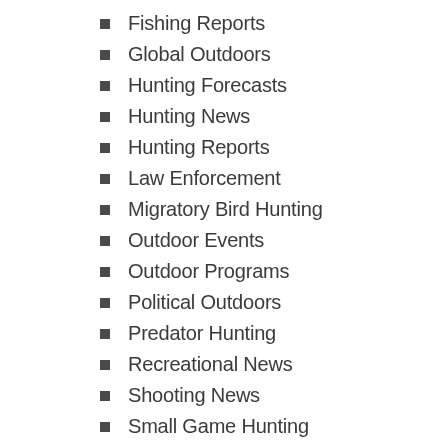Fishing Reports
Global Outdoors
Hunting Forecasts
Hunting News
Hunting Reports
Law Enforcement
Migratory Bird Hunting
Outdoor Events
Outdoor Programs
Political Outdoors
Predator Hunting
Recreational News
Shooting News
Small Game Hunting
Trapping News
Turkey Hunting News
Upland Bird Hunting